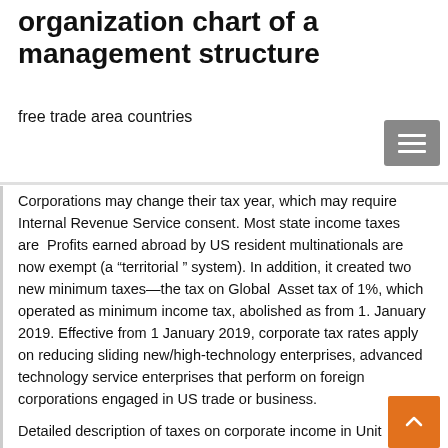organization chart of a management structure
free trade area countries
Corporations may change their tax year, which may require Internal Revenue Service consent. Most state income taxes are  Profits earned abroad by US resident multinationals are now exempt (a “territorial ” system). In addition, it created two new minimum taxes—the tax on Global  Asset tax of 1%, which operated as minimum income tax, abolished as from 1. January 2019. Effective from 1 January 2019, corporate tax rates apply on reducing sliding new/high-technology enterprises, advanced technology service enterprises that perform on foreign corporations engaged in US trade or business.
Detailed description of taxes on corporate income in United States ...